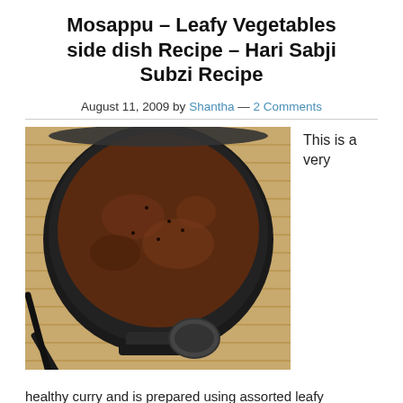Mosappu – Leafy Vegetables side dish Recipe – Hari Sabji Subzi Recipe
August 11, 2009 by Shantha — 2 Comments
[Figure (photo): A dark brown curry/lentil dish in a round steel pot/vessel with a ladle, placed on a bamboo mat]
This is a very
healthy curry and is prepared using assorted leafy vegetable and lentils.  Mosappu is a favorite among the Vokkaliga community in Karnataka and also relished by others.  The … [Read more...]